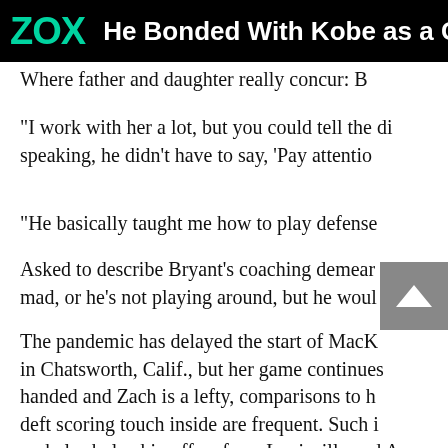ZOX — He Bonded With Kobe as a Co
Where father and daughter really concur: B
“I work with her a lot, but you could tell the di speaking, he didn’t have to say, ‘Pay attentio
“He basically taught me how to play defense
Asked to describe Bryant’s coaching demear mad, or he’s not playing around, but he woul
The pandemic has delayed the start of MacK in Chatsworth, Calif., but her game continues handed and Zach is a lefty, comparisons to h deft scoring touch inside are frequent. Such i verbal scholarship offers from Louisville and A
“She’s extremely talented,” said Alicia Komal